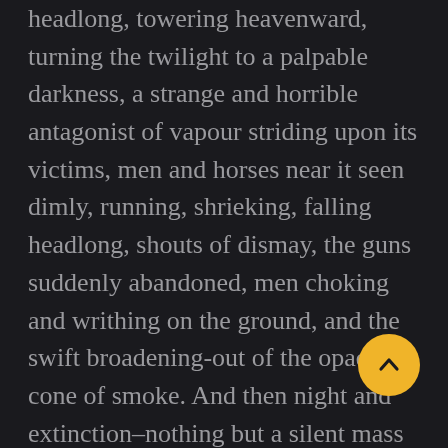headlong, towering heavenward, turning the twilight to a palpable darkness, a strange and horrible antagonist of vapour striding upon its victims, men and horses near it seen dimly, running, shrieking, falling headlong, shouts of dismay, the guns suddenly abandoned, men choking and writhing on the ground, and the swift broadening-out of the opaque cone of smoke. And then night and extinction–nothing but a silent mass of impenetrable vapour hiding its dead.
Header one
That last is no more than a foot high, and about seven paces across, a mere flat top of a grey rock